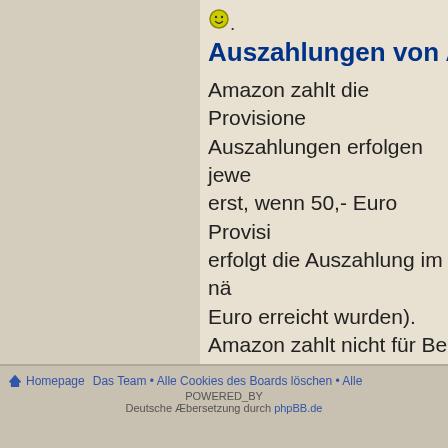[Figure (illustration): Smiley face emoji icon at top of post content area]
Auszahlungen von Am...
Amazon zahlt die Provisione... Auszahlungen erfolgen jewe... erst, wenn 50,- Euro Provisi... erfolgt die Auszahlung im nä... Euro erreicht wurden). Amazon zahlt nicht für Be... vornimmt, da dies ein Rabat... gewähren kann. Der Webm... suchen, um dem Gildenring... gestalten 🙂.
Homepage • Das Team • Alle Cookies des Boards löschen • Alle... POWERED_BY Deutsche Übersetzung durch phpBB.de